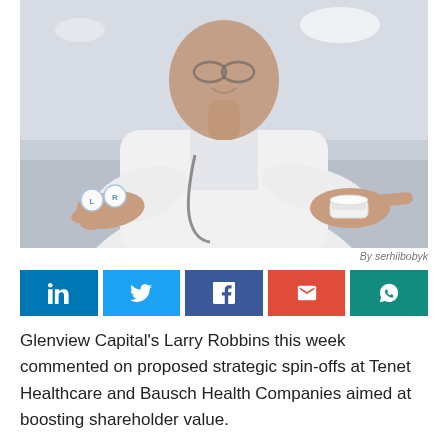[Figure (photo): A smiling doctor in a white coat holding contact lenses (L and R) in one hand and a contact lens case in the other hand, photographed in a clinical setting.]
By serhiibobyk
[Figure (infographic): Social media sharing buttons: LinkedIn (blue), Twitter (light blue), Facebook (dark blue), Email (red), WhatsApp (green)]
Glenview Capital's Larry Robbins this week commented on proposed strategic spin-offs at Tenet Healthcare and Bausch Health Companies aimed at boosting shareholder value.